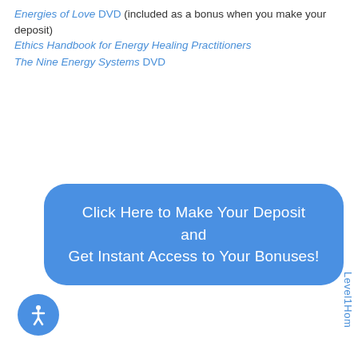Energies of Love DVD (included as a bonus when you make your deposit)
Ethics Handbook for Energy Healing Practitioners
The Nine Energy Systems DVD
Click Here to Make Your Deposit and Get Instant Access to Your Bonuses!
Level1Hom
[Figure (illustration): Blue circular accessibility icon with a human figure]